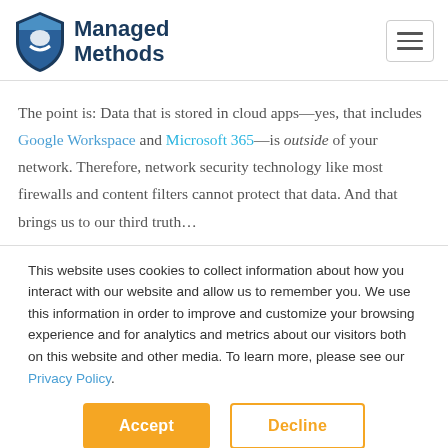[Figure (logo): Managed Methods logo with blue shield icon and bold dark blue text reading 'Managed Methods']
The point is: Data that is stored in cloud apps—yes, that includes Google Workspace and Microsoft 365—is outside of your network. Therefore, network security technology like most firewalls and content filters cannot protect that data. And that brings us to our third truth…
This website uses cookies to collect information about how you interact with our website and allow us to remember you. We use this information in order to improve and customize your browsing experience and for analytics and metrics about our visitors both on this website and other media. To learn more, please see our Privacy Policy.